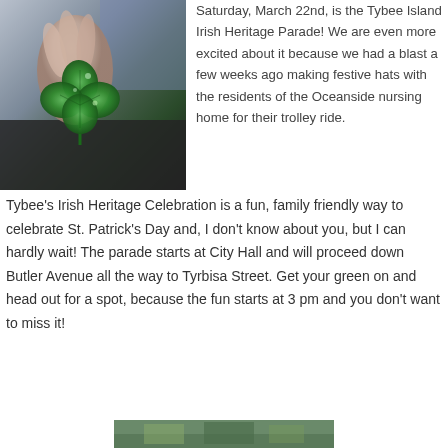[Figure (photo): A hand holding a four-leaf clover (shamrock) against a blurred background]
Saturday, March 22nd, is the Tybee Island Irish Heritage Parade! We are even more excited about it because we had a blast a few weeks ago making festive hats with the residents of the Oceanside nursing home for their trolley ride. Tybee's Irish Heritage Celebration is a fun, family friendly way to celebrate St. Patrick's Day and, I don't know about you, but I can hardly wait! The parade starts at City Hall and will proceed down Butler Avenue all the way to Tyrbisa Street. Get your green on and head out for a spot, because the fun starts at 3 pm and you don't want to miss it!
[Figure (photo): Partial photo at bottom of page, appears to show people outdoors]